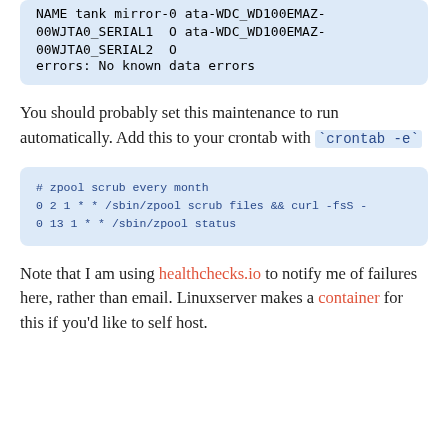[Figure (screenshot): Code block showing ZFS pool status output with NAME, tank, mirror-0, and two ata-WDC disk entries, followed by 'errors: No known data errors']
You should probably set this maintenance to run automatically. Add this to your crontab with `crontab -e`
[Figure (screenshot): Code block showing crontab entries: # zpool scrub every month, 0 2 1 * * /sbin/zpool scrub files && curl -fsS ..., 0 13 1 * * /sbin/zpool status]
Note that I am using healthchecks.io to notify me of failures here, rather than email. Linuxserver makes a container for this if you'd like to self host.